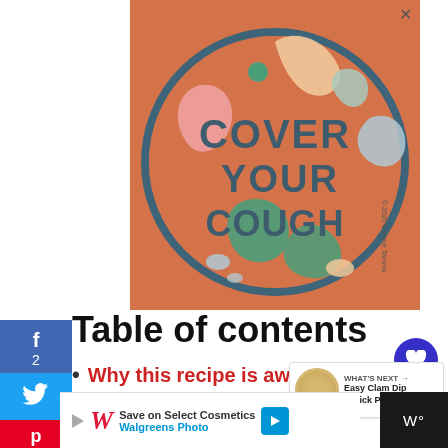[Figure (illustration): Orange square advertisement with a circular badge design containing the text 'COVER YOUR COUGH' in dark teal lettering on an orange background with colorful decorative leaf/blob shapes in pink, green, and cream colors. Copyright 2020 Chelsie Tamms.]
Table of contents
Why this recipe is awesome
Ingredients Needed
[Figure (infographic): Bottom advertisement bar: Walgreens photo ad - Save on Select Cosmetics, Walgreens Photo. Play button icon, Walgreens W logo, blue directional arrow icon. Right side dark panel with W° logo.]